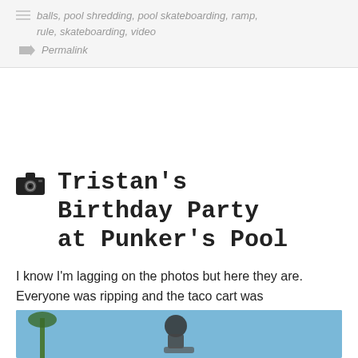balls, pool shredding, pool skateboarding, ramp, rule, skateboarding, video
Permalink
Tristan's Birthday Party at Punker's Pool
I know I'm lagging on the photos but here they are. Everyone was ripping and the taco cart was grilling some tasty food.
The birthday boy was ripping:
[Figure (photo): Skateboarder performing an aerial trick at a pool skate session, photographed against a blue sky with palm trees visible in the background.]